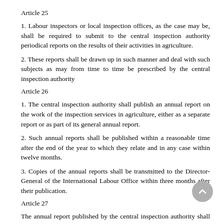Article 25
1. Labour inspectors or local inspection offices, as the case may be, shall be required to submit to the central inspection authority periodical reports on the results of their activities in agriculture.
2. These reports shall be drawn up in such manner and deal with such subjects as may from time to time be prescribed by the central inspection authority
Article 26
1. The central inspection authority shall publish an annual report on the work of the inspection services in agriculture, either as a separate report or as part of its general annual report.
2. Such annual reports shall be published within a reasonable time after the end of the year to which they relate and in any case within twelve months.
3. Copies of the annual reports shall be transmitted to the Director-General of the International Labour Office within three months after their publication.
Article 27
The annual report published by the central inspection authority shall deal in particular with the following subjects, in so far as they are under the control of the